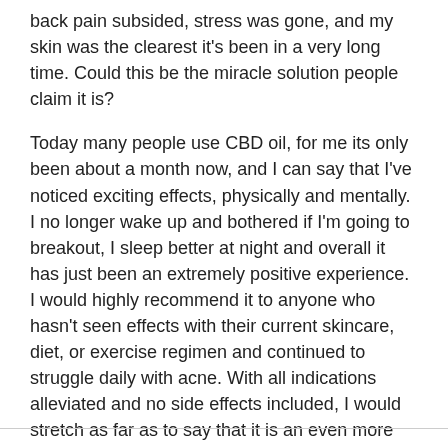back pain subsided, stress was gone, and my skin was the clearest it's been in a very long time. Could this be the miracle solution people claim it is?
Today many people use CBD oil, for me its only been about a month now, and I can say that I've noticed exciting effects, physically and mentally. I no longer wake up and bothered if I'm going to breakout, I sleep better at night and overall it has just been an extremely positive experience. I would highly recommend it to anyone who hasn't seen effects with their current skincare, diet, or exercise regimen and continued to struggle daily with acne. With all indications alleviated and no side effects included, I would stretch as far as to say that it is an even more effective treatment for acne than accutane.